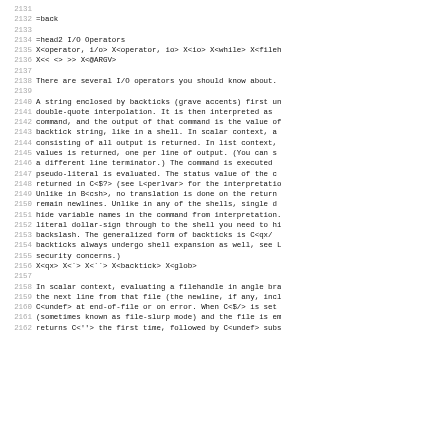2131
2132 =back
2133
2134 =head2 I/O Operators
2135 X<operator, i/o> X<operator, io> X<io> X<while> X<fileh
2136 X<< <> >> X<@ARGV>
2137
2138 There are several I/O operators you should know about.
2139
2140 A string enclosed by backticks (grave accents) first un
2141 double-quote interpolation.  It is then interpreted as
2142 command, and the output of that command is the value of
2143 backtick string, like in a shell.  In scalar context, a
2144 consisting of all output is returned.  In list context,
2145 values is returned, one per line of output.  (You can s
2146 a different line terminator.)  The command is executed
2147 pseudo-literal is evaluated.  The status value of the c
2148 returned in C<$?> (see L<perlvar> for the interpretatio
2149 Unlike in B<csh>, no translation is done on the return
2150 remain newlines.  Unlike in any of the shells, single d
2151 hide variable names in the command from interpretation.
2152 literal dollar-sign through to the shell you need to hi
2153 backslash.  The generalized form of backticks is C<qx/
2154 backticks always undergo shell expansion as well, see L
2155 security concerns.)
2156 X<qx> X<`> X<``> X<backtick> X<glob>
2157
2158 In scalar context, evaluating a filehandle in angle bra
2159 the next line from that file (the newline, if any, incl
2160 C<undef> at end-of-file or on error.  When C<$/> is set
2161 (sometimes known as file-slurp mode) and the file is em
2162 returns C<''> the first time, followed by C<undef> subs